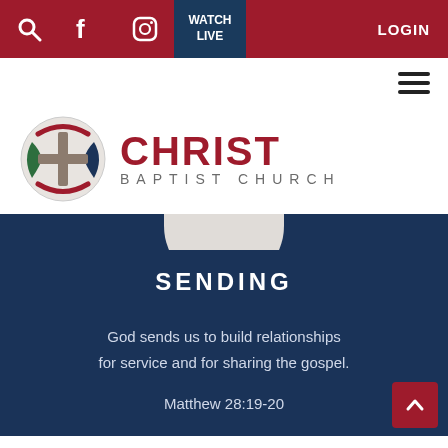Navigation bar with search, Facebook, Instagram icons, WATCH LIVE button, LOGIN link
[Figure (screenshot): Hamburger menu icon (three horizontal lines) at top right]
[Figure (logo): Christ Baptist Church logo — circular globe icon with cross and swirl, next to large text CHRIST BAPTIST CHURCH]
[Figure (illustration): Decorative semicircle divider between white and dark blue sections]
SENDING
God sends us to build relationships for service and for sharing the gospel.
Matthew 28:19-20